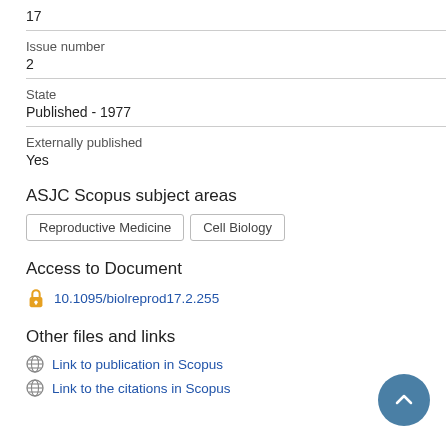17
Issue number
2
State
Published - 1977
Externally published
Yes
ASJC Scopus subject areas
Reproductive Medicine
Cell Biology
Access to Document
10.1095/biolreprod17.2.255
Other files and links
Link to publication in Scopus
Link to the citations in Scopus